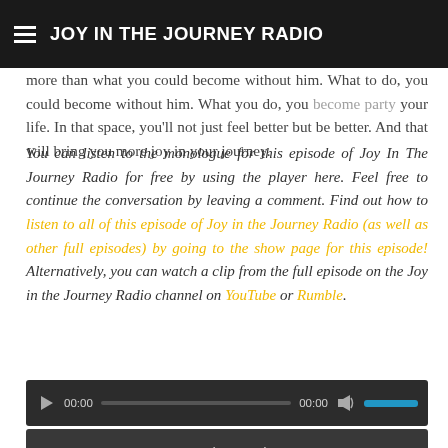JOY IN THE JOURNEY RADIO
more than what you could become without him. What to do, you could become without him. What to do, you become party your life. In that space, you'll not just feel better but be better. And that will bring you more joy in your journey.
You can listen to the monologue for this episode of Joy In The Journey Radio for free by using the player here. Feel free to continue the conversation by leaving a comment. Find out how to listen to all of this episode of Joy in the Journey Radio (as well as other full episodes) by going to the show page for this episode! Alternatively, you can watch a clip from the full episode on the Joy in the Journey Radio channel on YouTube or Rumble.
[Figure (screenshot): Audio player widget with dark background showing play button, time display 00:00, progress bar, and volume control in blue]
[Figure (screenshot): Member Login button, dark grey background with light text]